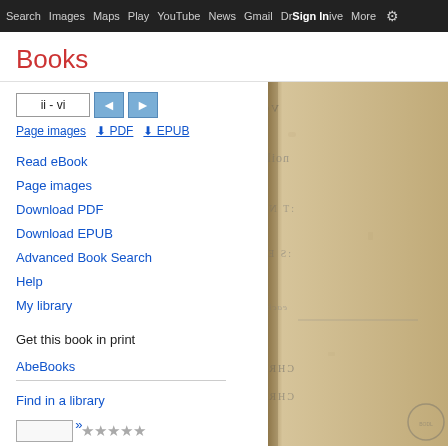Search  Images  Maps  Play  YouTube  News  Gmail  Drive  More  Sign In
Books
ii - vi
Page images  PDF  EPUB
Read eBook
Page images
Download PDF
Download EPUB
Advanced Book Search
Help
My library
Get this book in print
AbeBooks
Find in a library
All sellers »
[Figure (photo): Scanned image of an old book page with mirrored/reversed text in an antique serif font on yellowed paper, with a circular library stamp visible]